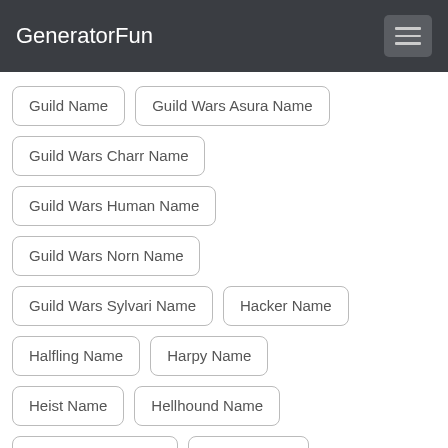GeneratorFun
Guild Name
Guild Wars Asura Name
Guild Wars Charr Name
Guild Wars Human Name
Guild Wars Norn Name
Guild Wars Sylvari Name
Hacker Name
Halfling Name
Harpy Name
Heist Name
Hellhound Name
Heroic Horse Name
Hobbit Name
Holy Book Name
Honor Name